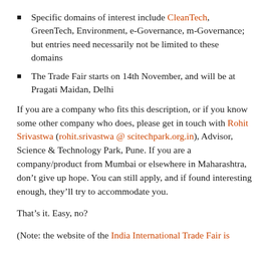Specific domains of interest include CleanTech, GreenTech, Environment, e-Governance, m-Governance; but entries need necessarily not be limited to these domains
The Trade Fair starts on 14th November, and will be at Pragati Maidan, Delhi
If you are a company who fits this description, or if you know some other company who does, please get in touch with Rohit Srivastwa (rohit.srivastwa @ scitechpark.org.in), Advisor, Science & Technology Park, Pune. If you are a company/product from Mumbai or elsewhere in Maharashtra, don’t give up hope. You can still apply, and if found interesting enough, they’ll try to accommodate you.
That’s it. Easy, no?
(Note: the website of the India International Trade Fair is